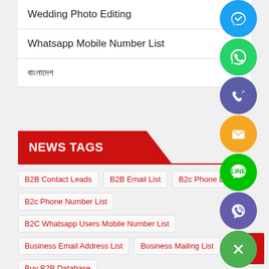Wedding Photo Editing
Whatsapp Mobile Number List
বাংলাদেশ
NEWS TAGS
B2B Contact Leads
B2B Email List
B2c Phone List
B2c Phone Number List
B2C Whatsapp Users Mobile Number List
Business Email Address List
Business Mailing List
Buy B2B Database
Buy Consumer Phone Number List
[Figure (illustration): Social media / contact icons: blue circle (Twitter/Messenger), green circle (WhatsApp), purple circle (phone), orange circle (email/envelope), green circle (LINE), purple circle (Viber), green circle with X (close button)]